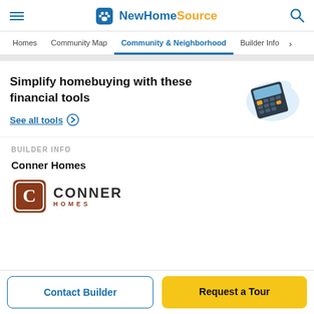NewHomeSource
Homes | Community Map | Community & Neighborhood | Builder Info
Simplify homebuying with these financial tools
See all tools
[Figure (illustration): Illustration of a calculator on a light blue cloud background]
BUILDER INFO
Conner Homes
[Figure (logo): Conner Homes logo with brown shield C icon and CONNER HOMES text]
Contact Builder
Request a Tour